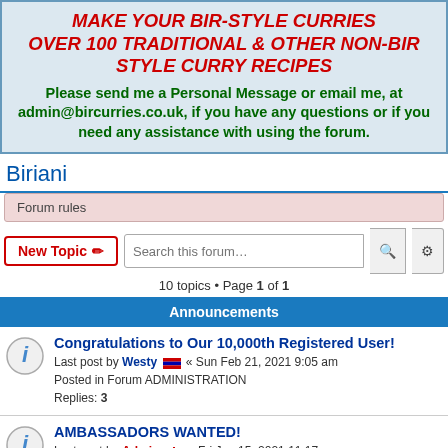MAKE YOUR BIR-STYLE CURRIES OVER 100 TRADITIONAL & OTHER NON-BIR STYLE CURRY RECIPES
Please send me a Personal Message or email me, at admin@bircurries.co.uk, if you have any questions or if you need any assistance with using the forum.
Biriani
Forum rules
New Topic  Search this forum…
10 topics • Page 1 of 1
Announcements
Congratulations to Our 10,000th Registered User!
Last post by Westy « Sun Feb 21, 2021 9:05 am
Posted in Forum ADMINISTRATION
Replies: 3
AMBASSADORS WANTED!
Last post by Admin « Fri Jan 15, 2021 11:17 am
Posted in Forum ADMINISTRATION